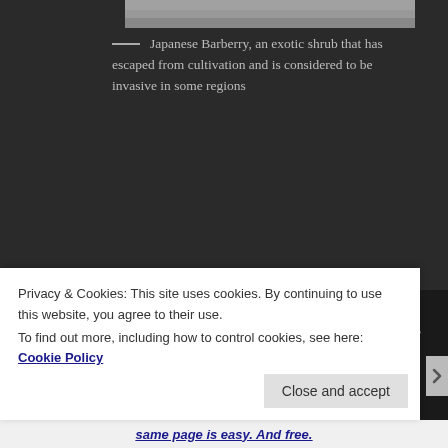[Figure (photo): Partial view of a plant photo at the top of the page, mostly cropped]
— Japanese Barberry, an exotic shrub that has escaped from cultivation and is considered to be invasive in some regions
Catbirds (the Gray Catbird, Dumetella carolinensis) are very common summer residents, nesting, feeding and singing in the thickets and brushy habitats typical of abandoned farmland, fencerows and ecotones. In winter, there are resident birds along the coast, but most migrate to the southern U.S. and Central America. When I returned from my winter walk, there was a Catbird in the Star Magnolia tree in the yard, a few feet from a bird
Privacy & Cookies: This site uses cookies. By continuing to use this website, you agree to their use.
To find out more, including how to control cookies, see here: Cookie Policy
same page is easy. And free.